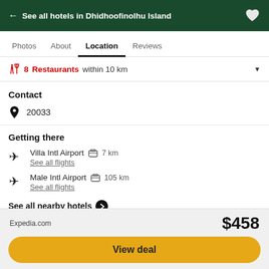← See all hotels in Dhidhoofinolhu Island
Photos  About  Location  Reviews
🍴 8 Restaurants within 10 km
Contact
📍 20033
Getting there
Villa Intl Airport  🚌 7 km
See all flights
Male Intl Airport  🚌 105 km
See all flights
See all nearby hotels ➤
Expedia.com  $458
View deal